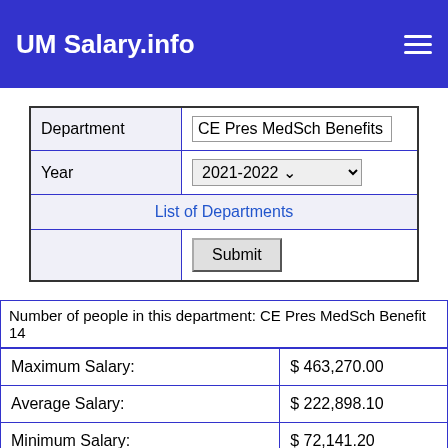UM Salary.info
| Field | Value |
| --- | --- |
| Department | CE Pres MedSch Benefits A |
| Year | 2021-2022 |
| List of Departments |  |
|  | Submit |
Number of people in this department: CE Pres MedSch Benefits
14
| Label | Value |
| --- | --- |
| Maximum Salary: | $ 463,270.00 |
| Average Salary: | $ 222,898.10 |
| Minimum Salary: | $ 72,141.20 |